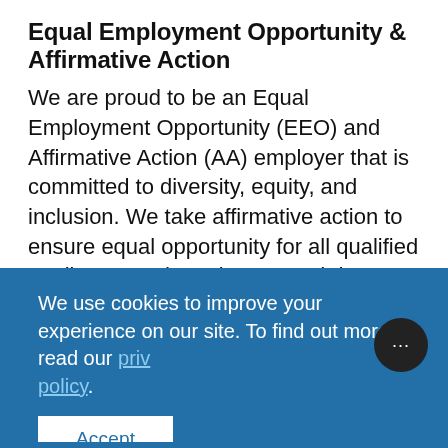Equal Employment Opportunity & Affirmative Action
We are proud to be an Equal Employment Opportunity (EEO) and Affirmative Action (AA) employer that is committed to diversity, equity, and inclusion. We take affirmative action to ensure equal opportunity for all qualified applicants and employees and do not discriminate based upon race, color, religion, sex (including pregnancy, childbirth, reproductive health decisions, or
We use cookies to improve your experience on our site. To find out more, read our privacy policy.
Accept